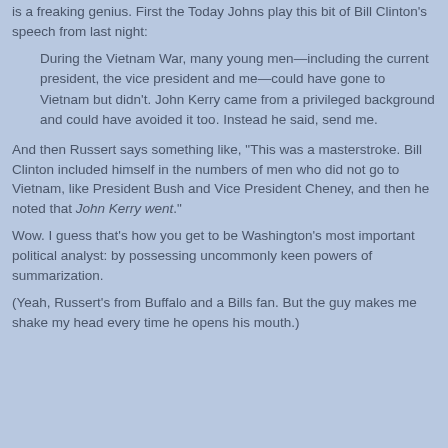is a freaking genius. First the Today Johns play this bit of Bill Clinton's speech from last night:
During the Vietnam War, many young men—including the current president, the vice president and me—could have gone to Vietnam but didn't. John Kerry came from a privileged background and could have avoided it too. Instead he said, send me.
And then Russert says something like, "This was a masterstroke. Bill Clinton included himself in the numbers of men who did not go to Vietnam, like President Bush and Vice President Cheney, and then he noted that John Kerry went."
Wow. I guess that's how you get to be Washington's most important political analyst: by possessing uncommonly keen powers of summarization.
(Yeah, Russert's from Buffalo and a Bills fan. But the guy makes me shake my head every time he opens his mouth.)